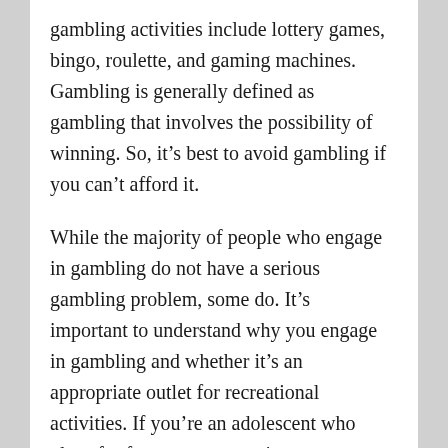gambling activities include lottery games, bingo, roulette, and gaming machines. Gambling is generally defined as gambling that involves the possibility of winning. So, it's best to avoid gambling if you can't afford it.
While the majority of people who engage in gambling do not have a serious gambling problem, some do. It's important to understand why you engage in gambling and whether it's an appropriate outlet for recreational activities. If you're an adolescent who plays for fun or wants to win money, your gambling activities are likely to be a distraction from your responsibilities and stress. If you're an adult who has a gambling problem, there are many resources available to help you.
While gambling is legal in most U.S. states, it is often suppressed by law in many states. During the early 20th century, most states outlawed gambling, and this spawned the growth of criminal and mafia organizations. However,